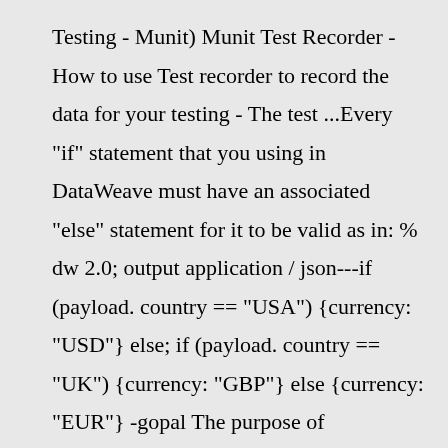Testing - Munit) Munit Test Recorder - How to use Test recorder to record the data for your testing - The test ...Every "if" statement that you using in DataWeave must have an associated "else" statement for it to be valid as in: % dw 2.0; output application / json---if (payload. country == "USA") {currency: "USD"} else; if (payload. country == "UK") {currency: "GBP"} else {currency: "EUR"} -gopal The purpose of